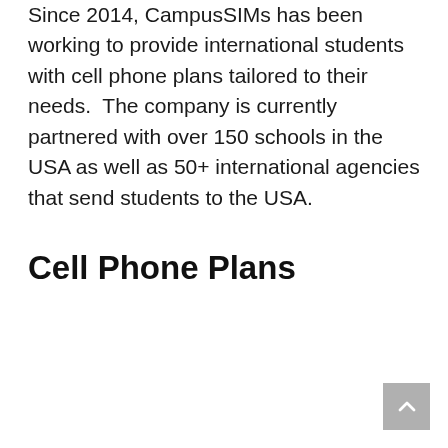Since 2014, CampusSIMs has been working to provide international students with cell phone plans tailored to their needs. The company is currently partnered with over 150 schools in the USA as well as 50+ international agencies that send students to the USA.
Cell Phone Plans